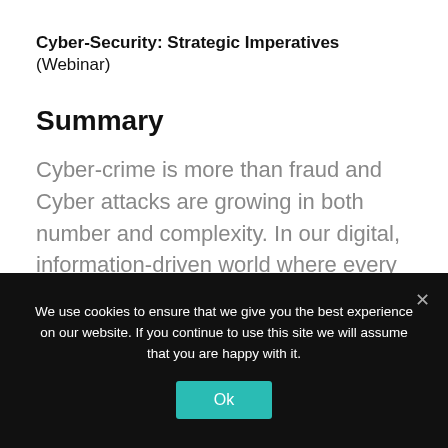Cyber-Security: Strategic Imperatives
(Webinar)
Summary
Cyber-crime is more than fraud and Cyber attacks are growing in both number and complexity. In our digital, information-driven world where every company is considered a technology
We use cookies to ensure that we give you the best experience on our website. If you continue to use this site we will assume that you are happy with it.